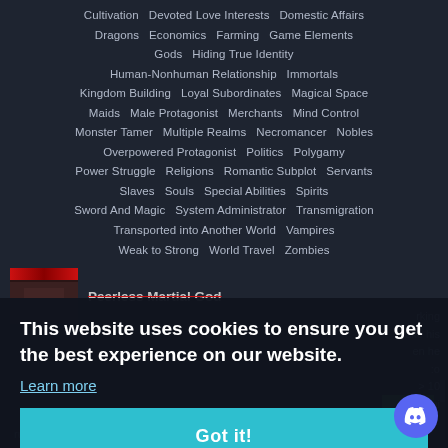Cultivation  Devoted Love Interests  Domestic Affairs  Dragons  Economics  Farming  Game Elements  Gods  Hiding True Identity  Human-Nonhuman Relationship  Immortals  Kingdom Building  Loyal Subordinates  Magical Space  Maids  Male Protagonist  Merchants  Mind Control  Monster Tamer  Multiple Realms  Necromancer  Nobles  Overpowered Protagonist  Politics  Polygamy  Power Struggle  Religions  Romantic Subplot  Servants  Slaves  Souls  Special Abilities  Spirits  Sword And Magic  System Administrator  Transmigration  Transported into Another World  Vampires  Weak to Strong  World Travel  Zombies
[Figure (screenshot): Partial book cover thumbnail with red banner]
Peerless Martial God
This website uses cookies to ensure you get the best experience on our website.
Learn more
Got it!
ruined his life with him